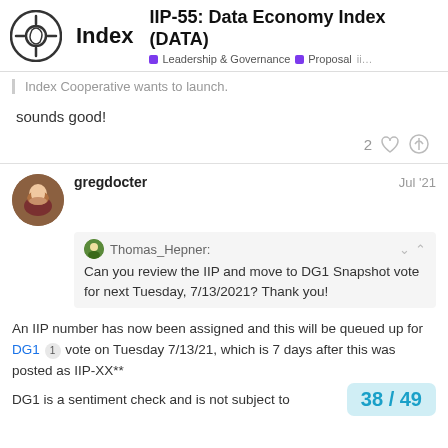IIP-55: Data Economy Index (DATA) | Leadership & Governance | Proposal | ii...
Index Cooperative wants to launch.
sounds good!
2 ♡ 🔗
gregdocter  Jul '21
Thomas_Hepner: Can you review the IIP and move to DG1 Snapshot vote for next Tuesday, 7/13/2021? Thank you!
An IIP number has now been assigned and this will be queued up for DG1 1 vote on Tuesday 7/13/21, which is 7 days after this was posted as IIP-XX**
DG1 is a sentiment check and is not subject to
38 / 49